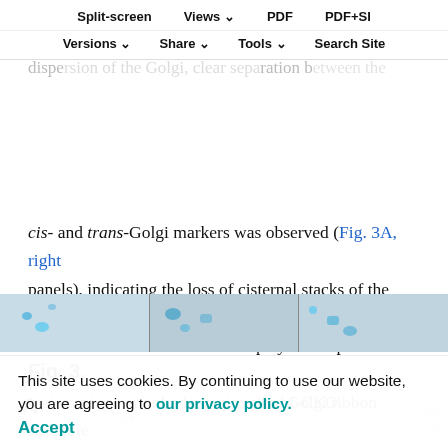Split-screen | Views | PDF | PDF+SI | Versions | Share | Tools | Search Site
had been retained in the Rab1-CKO cells. In contrast, the auxin-exposed Rab1-CKO cells showed more prominent dispersion of the Golgi, clear separation between the cis- and trans-Golgi markers was observed (Fig. 3A, right panels), indicating the loss of cisternal stacks of the Golgi. These results indicate that Rab1 plays an important role in maintaining not only the perinuclear Golgi ribbon structure in mammalian cells but also the cis- and trans-Golgi cisternal stacks.
Fig. 3.
A    Rab1-CKO    WT    +
[Figure (photo): Fluorescence microscopy image strip showing Golgi marker localization in WT and Rab1-CKO cells with and without auxin treatment]
This site uses cookies. By continuing to use our website, you are agreeing to our privacy policy. Accept